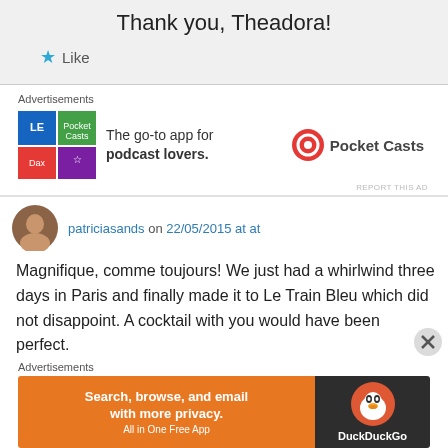Thank you, Theadora!
★ Like
Advertisements
[Figure (infographic): Pocket Casts advertisement: colorful app icon tiles on left, 'The go-to app for podcast lovers.' text in center, Pocket Casts logo on right]
REPORT THIS AD
patriciasands on 22/05/2015 at at
Magnifique, comme toujours! We just had a whirlwind three days in Paris and finally made it to Le Train Bleu which did not disappoint. A cocktail with you would have been perfect.
Advertisements
[Figure (infographic): DuckDuckGo advertisement: orange background with 'Search, browse, and email with more privacy. All in One Free App' on left and DuckDuckGo duck logo on dark right side]